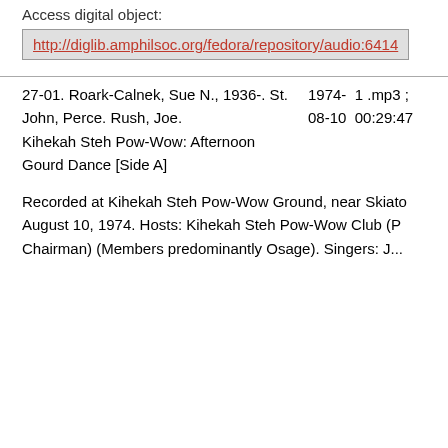Access digital object:
http://diglib.amphilsoc.org/fedora/repository/audio:6414
27-01. Roark-Calnek, Sue N., 1936-. St. John, Perce. Rush, Joe. Kihekah Steh Pow-Wow: Afternoon Gourd Dance [Side A]
1974-08-10  1 .mp3 ; 00:29:47
Recorded at Kihekah Steh Pow-Wow Ground, near Skiato August 10, 1974. Hosts: Kihekah Steh Pow-Wow Club (P Chairman) (Members predominantly Osage). Singers: J...